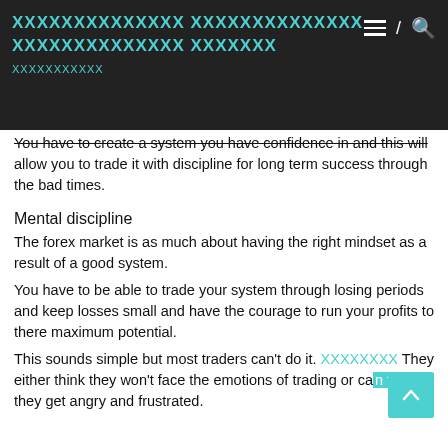XXXXXXXXXXXXXX XXXXXXXXXXXXXX XXXXXXXXXXXXXX XXXXXXX
You have to create a system you have confidence in and this will allow you to trade it with discipline for long term success through the bad times.
Mental discipline
The forex market is as much about having the right mindset as a result of a good system.
You have to be able to trade your system through losing periods and keep losses small and have the courage to run your profits to there maximum potential.
This sounds simple but most traders can't do it. XXXXXXXX They either think they won't face the emotions of trading or can take they get angry and frustrated.
Lets look at this in more detail.